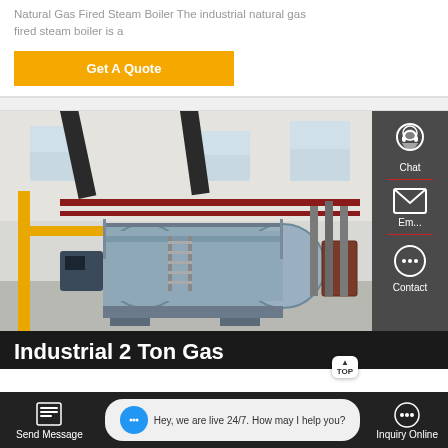Natural Gas Fired Steam Boiler The industrial natural gas fired steam boiler is a
Get A Quote
[Figure (photo): Industrial natural gas fired steam boiler inside a factory building with large cylindrical boiler tanks, piping, scaffolding, and yellow structural supports]
Industrial 2 Top Gas
Chat
Email
Contact
Send Message
Hey, we are live 24/7. How may I help you?
Inquiry Online